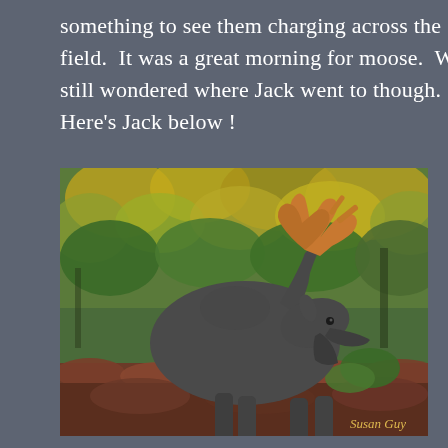something to see them charging across the field.  It was a great morning for moose.  We still wondered where Jack went to though.  Here's Jack below !
[Figure (photo): A large bull moose with orange-brown antlers standing in profile facing right, set against a backdrop of dense autumn foliage with green and yellow-gold leaves. The moose has a dark grey-brown coat. The foreground shows reddish-brown low shrubs and plants. Watermark reads 'Susan Guy' in the lower right corner.]